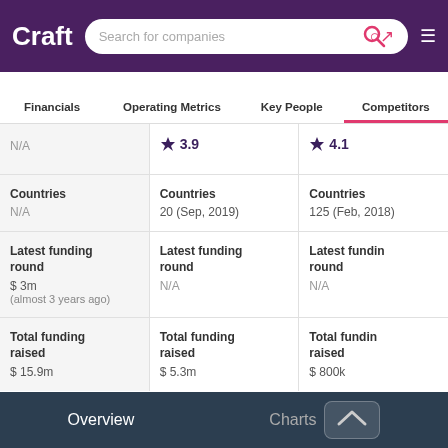Craft — Search for companies
Financials | Operating Metrics | Key People | Competitors
| Col1 | Col2 | Col3 |
| --- | --- | --- |
| N/A | ★ 3.9 | ★ 4.1 |
| Countries
N/A | Countries
20 (Sep, 2019) | Countries
125 (Feb, 2018) |
| Latest funding round
$ 3m
(almost 3 years ago) | Latest funding round
N/A | Latest funding round
N/A |
| Total funding raised
$ 15.9m | Total funding raised
$ 5.3m | Total funding raised
$ 800k |
Overview | Charts